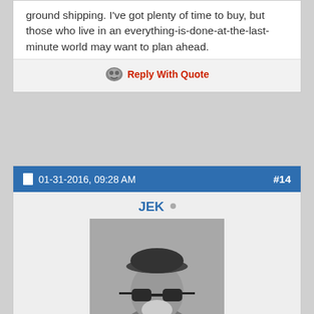ground shipping. I've got plenty of time to buy, but those who live in an everything-is-done-at-the-last-minute world may want to plan ahead.
Reply With Quote
01-31-2016, 09:28 AM  #14
JEK
[Figure (photo): Black and white photo of an elderly man wearing a cap and sunglasses, holding a drink with a red straw.]
Senior Insider
Joined: Jan 2004
In the ether . . .